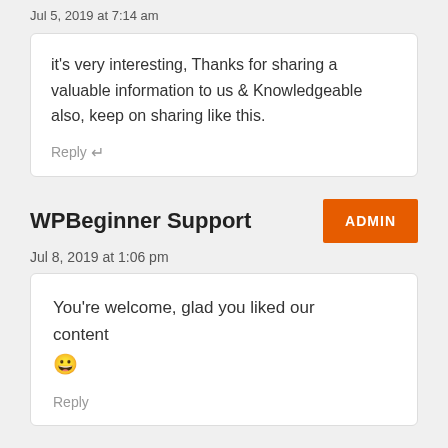Jul 5, 2019 at 7:14 am
it's very interesting, Thanks for sharing a valuable information to us & Knowledgeable also, keep on sharing like this.
Reply
WPBeginner Support
ADMIN
Jul 8, 2019 at 1:06 pm
You're welcome, glad you liked our content 😀
Reply